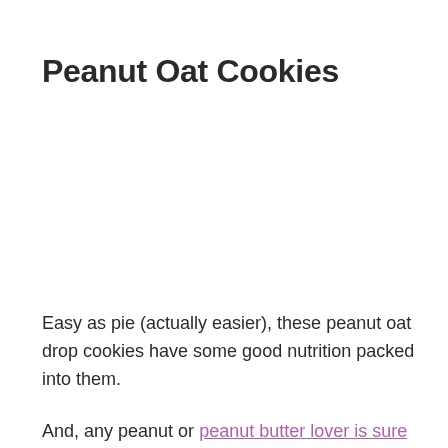Peanut Oat Cookies
Easy as pie (actually easier), these peanut oat drop cookies have some good nutrition packed into them.
And, any peanut or peanut butter lover is sure